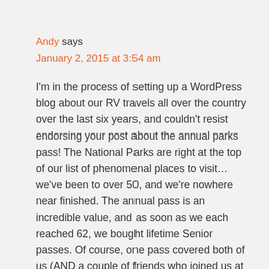Andy says
January 2, 2015 at 3:54 am
I'm in the process of setting up a WordPress blog about our RV travels all over the country over the last six years, and couldn't resist endorsing your post about the annual parks pass! The National Parks are right at the top of our list of phenomenal places to visit… we've been to over 50, and we're nowhere near finished. The annual pass is an incredible value, and as soon as we each reached 62, we bought lifetime Senior passes. Of course, one pass covered both of us (AND a couple of friends who joined us at Arches and Canyonlands), but my wife